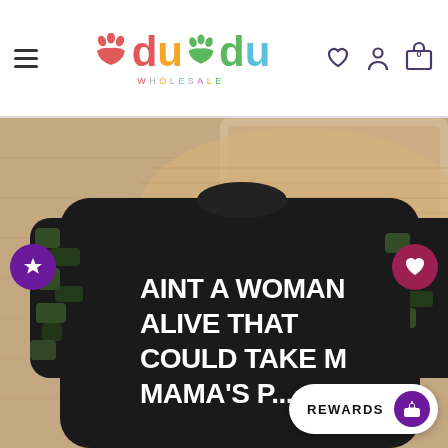[Figure (logo): Dudu Wholesale colorful logo with paw/hand icons]
[Figure (photo): Baby/toddler black sweatshirt with camo sleeves and text 'AINT A WOMAN ALIVE THAT COULD TAKE MAMA'S P...' on a wood background with wicker mat]
REWARDS